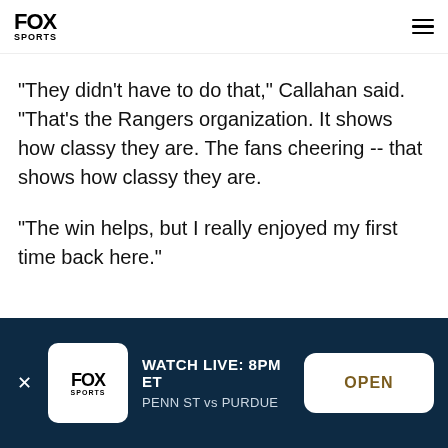FOX SPORTS
"They didn't have to do that," Callahan said. "That's the Rangers organization. It shows how classy they are. The fans cheering -- that shows how classy they are.
"The win helps, but I really enjoyed my first time back here."
[Figure (screenshot): FOX Sports app banner ad: WATCH LIVE: 8PM ET PENN ST vs PURDUE with OPEN button]